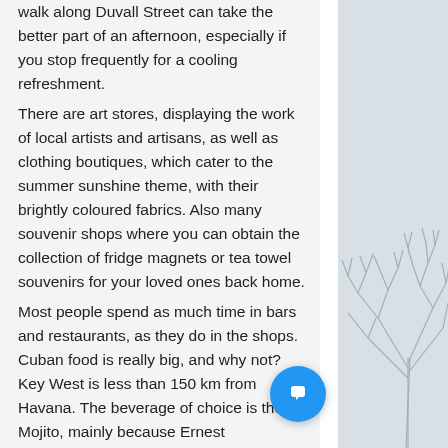walk along Duvall Street can take the better part of an afternoon, especially if you stop frequently for a cooling refreshment.
There are art stores, displaying the work of local artists and artisans, as well as clothing boutiques, which cater to the summer sunshine theme, with their brightly coloured fabrics. Also many souvenir shops where you can obtain the collection of fridge magnets or tea towel souvenirs for your loved ones back home.
Most people spend as much time in bars and restaurants, as they do in the shops. Cuban food is really big, and why not? Key West is less than 150 km from Havana. The beverage of choice is the Mojito, mainly because Ernest Hemmingway lived in Key West for a
[Figure (illustration): Bare winter tree silhouette illustration in grey tones on a blue-grey background panel on the right side of the page.]